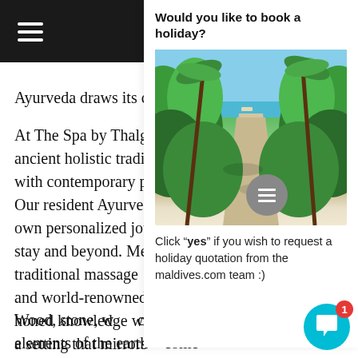Ayurveda draws its c...
At The Spa by Thalgo ancient holistic tradition with contemporary p... Our resident Ayurved own personalized jou stay and beyond. Me traditional massage and world-renowned honed knowledge wi a setting that mirrors
Would you like to book a holiday?
[Figure (photo): Tropical path lined with palm trees and lush green vegetation leading to a beach in the Maldives, blue sky visible in the background.]
Click "yes" if you wish to request a holiday quotation from the maldives.com team :)
Wood, stone, w... elements of the earth – come together in perfect harmony in the design of the Spa's 20 treatment r... Hydrotherapy pools, steam rooms and saunas ar... offered to complement your treatments. Meanwhile,